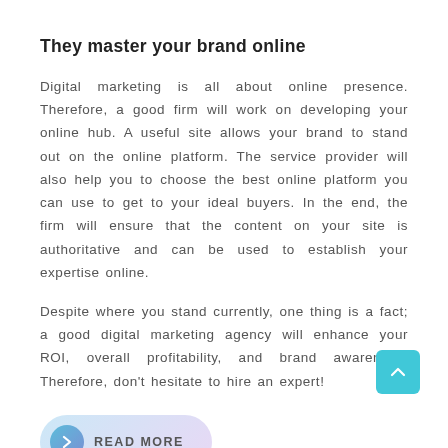They master your brand online
Digital marketing is all about online presence. Therefore, a good firm will work on developing your online hub. A useful site allows your brand to stand out on the online platform. The service provider will also help you to choose the best online platform you can use to get to your ideal buyers. In the end, the firm will ensure that the content on your site is authoritative and can be used to establish your expertise online.
Despite where you stand currently, one thing is a fact; a good digital marketing agency will enhance your ROI, overall profitability, and brand awareness. Therefore, don't hesitate to hire an expert!
READ MORE